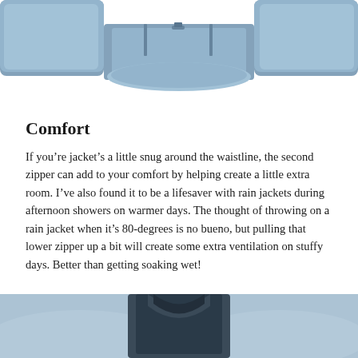[Figure (photo): Top portion of a blue/grey jacket laid flat, showing the bottom hem with a zipper, and the sleeves visible on either side]
Comfort
If you’re jacket’s a little snug around the waistline, the second zipper can add to your comfort by helping create a little extra room. I’ve also found it to be a lifesaver with rain jackets during afternoon showers on warmer days. The thought of throwing on a rain jacket when it’s 80-degrees is no bueno, but pulling that lower zipper up a bit will create some extra ventilation on stuffy days. Better than getting soaking wet!
[Figure (photo): Bottom portion of a blue/grey jacket shown from below, with a blurred background, showing the collar/neck area of the jacket]